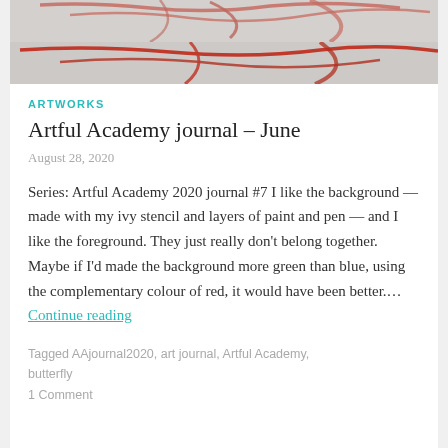[Figure (photo): Partial view of artwork with red painted lines on a white/grey textured background, cropped at the top of the page]
ARTWORKS
Artful Academy journal – June
August 28, 2020
Series: Artful Academy 2020 journal #7 I like the background — made with my ivy stencil and layers of paint and pen — and I like the foreground. They just really don't belong together. Maybe if I'd made the background more green than blue, using the complementary colour of red, it would have been better.… Continue reading
Tagged AAjournal2020, art journal, Artful Academy, butterfly
1 Comment